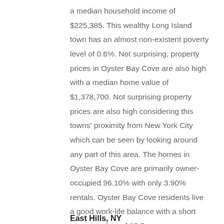a median household income of $225,385. This wealthy Long Island town has an almost non-existent poverty level of 0.6%. Not surprising, property prices in Oyster Bay Cove are also high with a median home value of $1,378,700. Not surprising property prices are also high considering this towns' proximity from New York City which can be seen by looking around any part of this area. The homes in Oyster Bay Cove are primarily owner-occupied 96.10% with only 3.90% rentals. Oyster Bay Cove residents live a good work-life balance with a short commute time of 35.7.
East Hills, NY